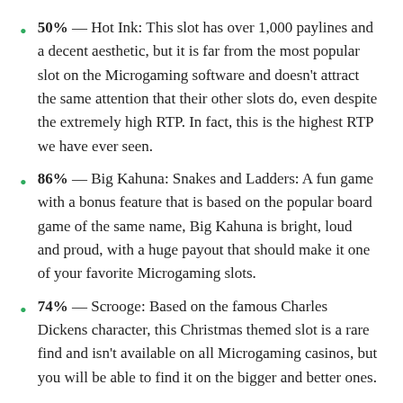50% — Hot Ink: This slot has over 1,000 paylines and a decent aesthetic, but it is far from the most popular slot on the Microgaming software and doesn't attract the same attention that their other slots do, even despite the extremely high RTP. In fact, this is the highest RTP we have ever seen.
86% — Big Kahuna: Snakes and Ladders: A fun game with a bonus feature that is based on the popular board game of the same name, Big Kahuna is bright, loud and proud, with a huge payout that should make it one of your favorite Microgaming slots.
74% — Scrooge: Based on the famous Charles Dickens character, this Christmas themed slot is a rare find and isn't available on all Microgaming casinos, but you will be able to find it on the bigger and better ones.
65% — Thunderstruck II: A huge improvement on the original Thunderstruck game, Thunderstruck II is beautifully made,